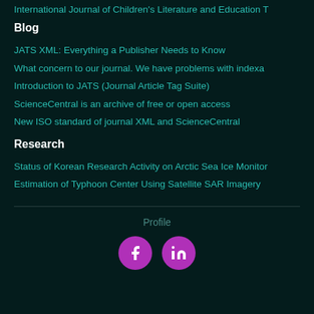International Journal of Children's Literature and Education T
Blog
JATS XML: Everything a Publisher Needs to Know
What concern to our journal. We have problems with indexa
Introduction to JATS (Journal Article Tag Suite)
ScienceCentral is an archive of free or open access
New ISO standard of journal XML and ScienceCentral
Research
Status of Korean Research Activity on Arctic Sea Ice Monitor
Estimation of Typhoon Center Using Satellite SAR Imagery
Profile